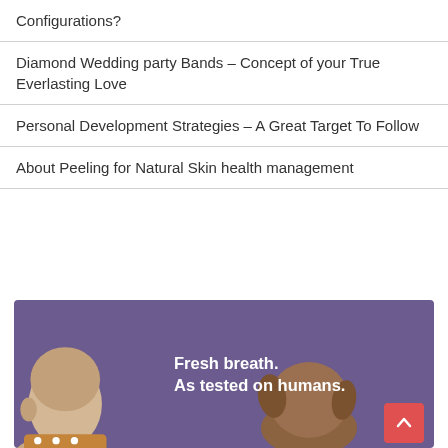Poster Craftsmanship – What Are the Various Configurations?
Diamond Wedding party Bands – Concept of your True Everlasting Love
Personal Development Strategies – A Great Target To Follow
About Peeling for Natural Skin health management
[Figure (photo): Advertisement banner with purple/mauve background showing text 'Fresh breath. As tested on humans.' with partial images of a human head (left) and a dog head (right), with a red scroll-to-top button in the bottom-right corner.]